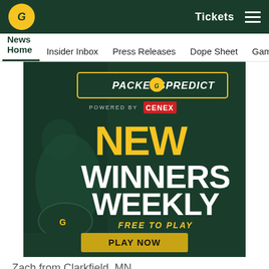[Figure (screenshot): Green Bay Packers website top navigation bar with logo, Tickets link, and hamburger menu on dark green background]
News Home  Insider Inbox  Press Releases  Dope Sheet  Game
[Figure (illustration): Packers Predict advertisement powered by Cenex. Text reads: NEW WINNERS WEEKLY FREE TO PLAY PLAY NOW. Dark green background with football player imagery and gold/white text.]
Zach from Clarkfield, MN
[Figure (infographic): Social sharing icons: Facebook, Twitter, Email, and Link/chain icon in circular outlines]